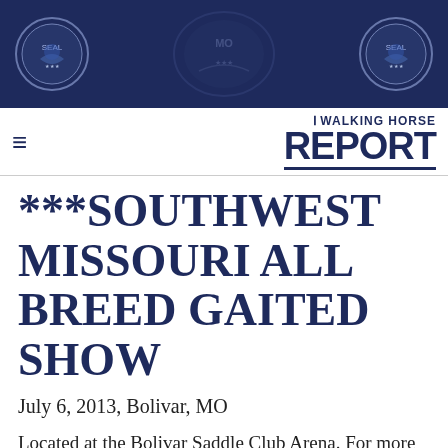[Figure (illustration): Dark navy blue banner header with two circular seal/crest logos on left and right sides and a large faded emblem in the center]
THE WALKING HORSE REPORT (logo with hamburger menu icon)
***SOUTHWEST MISSOURI ALL BREED GAITED SHOW
July 6, 2013, Bolivar, MO
Located at the Bolivar Saddle Club Arena. For more information contact Everett Clamp at 417-531-0991.
Click Here for class schedule